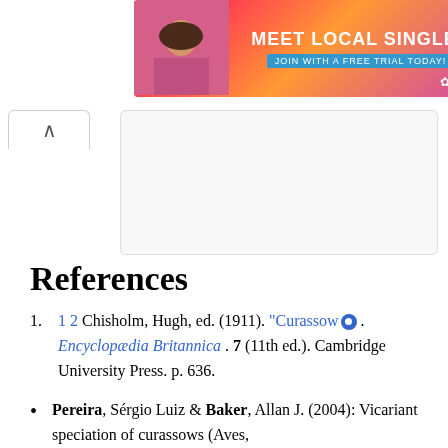[Figure (screenshot): Advertisement banner: 'MEET LOCAL SINGLES' with Clover dating app branding, pink/orange gradient background with woman photo on left, close and help buttons top right]
[Figure (screenshot): Collapsed Wikipedia table of contents panel with up-arrow tab on left and white panel area on right]
References
1 2 Chisholm, Hugh, ed. (1911). "Curassow" . Encyclopædia Britannica . 7 (11th ed.). Cambridge University Press. p. 636.
Pereira, Sérgio Luiz & Baker, Allan J. (2004): Vicariant speciation of curassows (Aves,